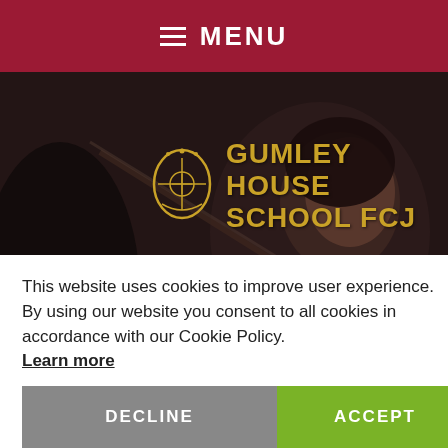MENU
[Figure (photo): A female student playing violin, dimly lit, overlaid with the Gumley House School FCJ logo in gold on a dark photographic background]
GUMLEY HOUSE SCHOOL FCJ
This website uses cookies to improve user experience. By using our website you consent to all cookies in accordance with our Cookie Policy. Learn more
DECLINE
ACCEPT